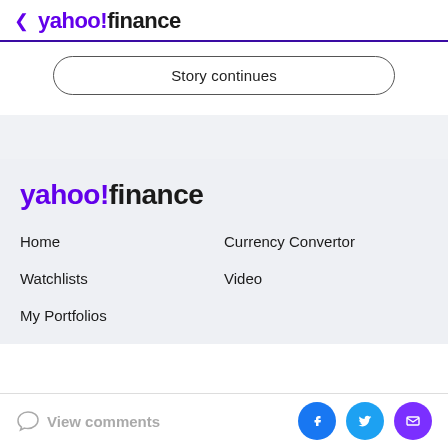yahoo!finance
Story continues
[Figure (logo): Yahoo Finance footer logo]
Home
Currency Convertor
Watchlists
Video
My Portfolios
View comments